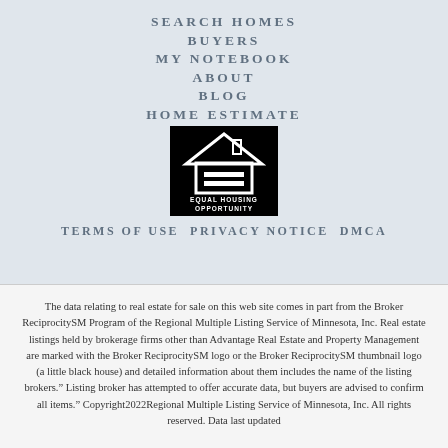SEARCH HOMES
BUYERS
MY NOTEBOOK
ABOUT
BLOG
HOME ESTIMATE
[Figure (logo): Equal Housing Opportunity logo — black square with white house icon and text 'EQUAL HOUSING OPPORTUNITY']
TERMS OF USE PRIVACY NOTICE DMCA
The data relating to real estate for sale on this web site comes in part from the Broker ReciprocitySM Program of the Regional Multiple Listing Service of Minnesota, Inc. Real estate listings held by brokerage firms other than Advantage Real Estate and Property Management are marked with the Broker ReciprocitySM logo or the Broker ReciprocitySM thumbnail logo (a little black house) and detailed information about them includes the name of the listing brokers.” Listing broker has attempted to offer accurate data, but buyers are advised to confirm all items.” Copyright2022Regional Multiple Listing Service of Minnesota, Inc. All rights reserved. Data last updated